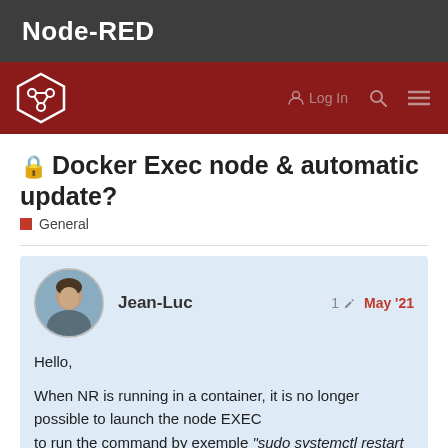Node-RED
[Figure (logo): Node-RED hexagon logo and navigation bar with Log In, search, and menu icons]
🔒 Docker Exec node & automatic update?
General
Jean-Luc  1 ✏  May '21

Hello,

When NR is running in a container, it is no longer possible to launch the node EXEC
to run the command by exemple "sudo systemctl restart nodered" or "node-red-restart" as it is possible with a standard installation without Docker.